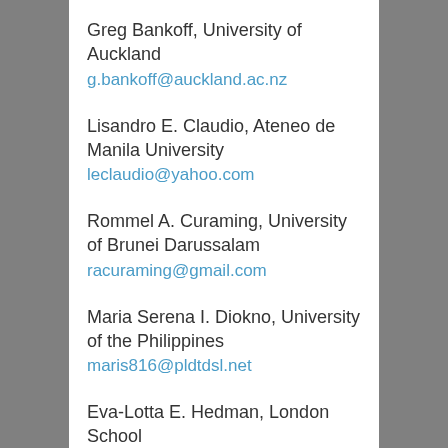Greg Bankoff, University of Auckland
g.bankoff@auckland.ac.nz
Lisandro E. Claudio, Ateneo de Manila University
leclaudio@yahoo.com
Rommel A. Curaming, University of Brunei Darussalam
racuraming@gmail.com
Maria Serena I. Diokno, University of the Philippines
maris816@pldtdsl.net
Eva-Lotta E. Hedman, London School